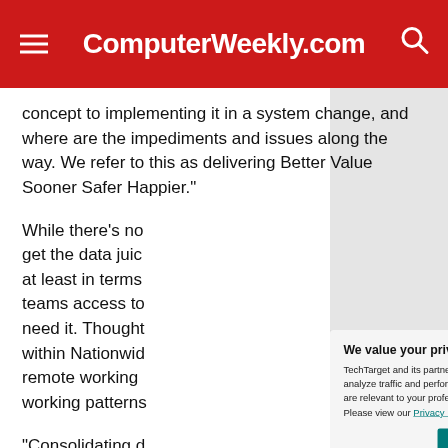ComputerWeekly.com
concept to implementing it in a system change, and where are the impediments and issues along the way. We refer to this as delivering Better Value Sooner Safer Happier."
While there's no... get the data juic... at least in terms... teams access to... need it. Thought... within Nationwid... remote working... working patterns...
"Consolidating d... register, Service... start to measure...
[Figure (screenshot): Privacy consent modal dialog with title 'We value your privacy.' and text about TechTarget and partners using cookies. Contains links to 'manage your settings' and 'Privacy Policy', plus OK and Settings buttons.]